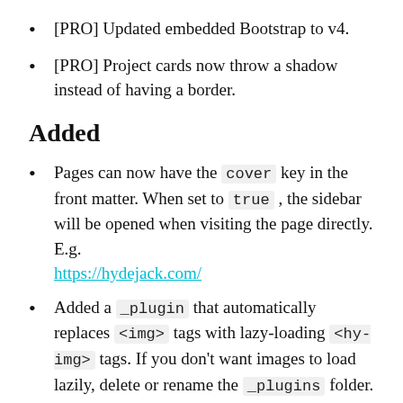[PRO] Updated embedded Bootstrap to v4.
[PRO] Project cards now throw a shadow instead of having a border.
Added
Pages can now have the cover key in the front matter. When set to true , the sidebar will be opened when visiting the page directly. E.g. https://hydejack.com/
Added a _plugin that automatically replaces <img> tags with lazy-loading <hy-img> tags. If you don't want images to load lazily, delete or rename the _plugins folder. Note that this plugin